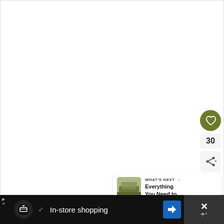[Figure (screenshot): White blank main content area of a web page]
[Figure (infographic): Heart/like button (olive green circle with white heart icon), count of 30, and share button on right sidebar]
[Figure (infographic): WHAT'S NEXT card with thumbnail of a stadium and text 'Everything You Need to...']
[Figure (screenshot): Bottom advertisement bar showing In-store shopping ad with logo, checkmark, navigation arrow icon, and close button with weather icon]